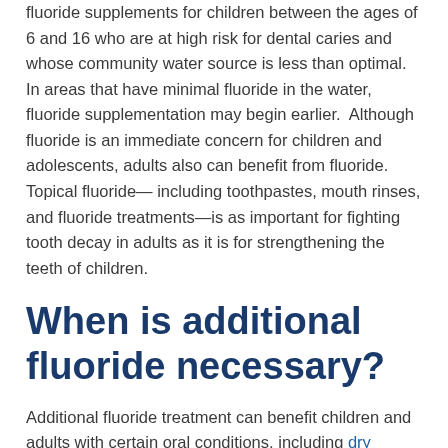fluoride supplements for children between the ages of 6 and 16 who are at high risk for dental caries and whose community water source is less than optimal. In areas that have minimal fluoride in the water, fluoride supplementation may begin earlier.  Although fluoride is an immediate concern for children and adolescents, adults also can benefit from fluoride. Topical fluoride— including toothpastes, mouth rinses, and fluoride treatments—is as important for fighting tooth decay in adults as it is for strengthening the teeth of children.
When is additional fluoride necessary?
Additional fluoride treatment can benefit children and adults with certain oral conditions, including dry mouth, gum disease, and cavities. Dry mouth makes an individual more